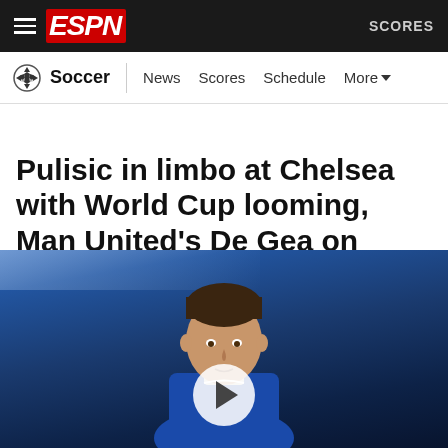ESPN — Soccer | News | Scores | Schedule | More | SCORES
Pulisic in limbo at Chelsea with World Cup looming, Man United's De Gea on borrowed time
[Figure (photo): Photo of Christian Pulisic in a blue Chelsea kit looking upward, with a blurred stadium background. A video play button overlay is visible in the center.]